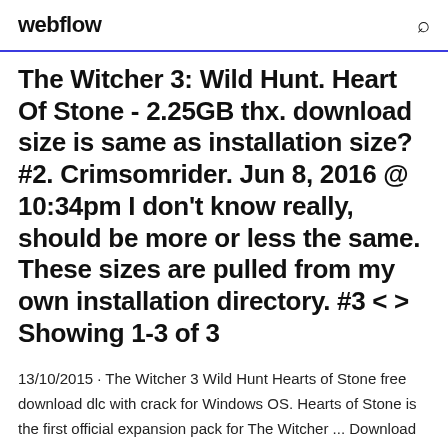webflow
The Witcher 3: Wild Hunt. Heart Of Stone - 2.25GB thx. download size is same as installation size? #2. Crimsomrider. Jun 8, 2016 @ 10:34pm I don't know really, should be more or less the same. These sizes are pulled from my own installation directory. #3 < > Showing 1-3 of 3
13/10/2015 · The Witcher 3 Wild Hunt Hearts of Stone free download dlc with crack for Windows OS. Hearts of Stone is the first official expansion pack for The Witcher ... Download